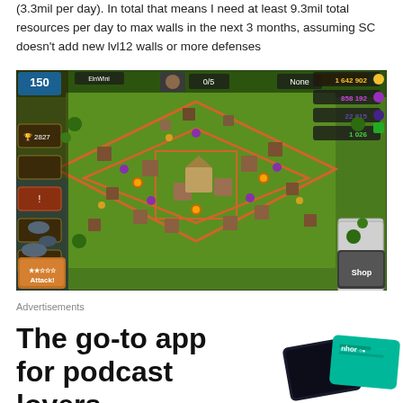(3.3mil per day). In total that means I need at least 9.3mil total resources per day to max walls in the next 3 months, assuming SC doesn't add new lvl12 walls or more defenses
[Figure (screenshot): Screenshot of a Clash of Clans mobile game showing a top-down view of a player's base with walls, buildings, defenses, and resource counters showing 1,642,902 gold, 858,192 elixir, 22,815 dark elixir, and 1,026 gems. UI shows level 150, 0/5 attacks, trophy count 2827, Attack button, and Shop button.]
Advertisements
The go-to app for podcast lovers.